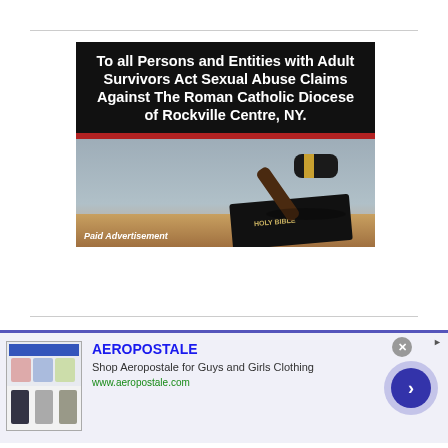[Figure (photo): Legal paid advertisement graphic with black background showing bold white text 'To all Persons and Entities with Adult Survivors Act Sexual Abuse Claims Against The Roman Catholic Diocese of Rockville Centre, NY.' with a red dividing bar and a photo of a judge's gavel resting on a Holy Bible. Caption reads 'Paid Advertisement'.]
[Figure (screenshot): Web advertisement banner for Aeropostale showing store clothing images, brand name in blue, tagline 'Shop Aeropostale for Guys and Girls Clothing', URL www.aeropostale.com, and a navigation arrow button.]